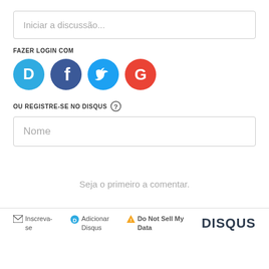Iniciar a discussão...
FAZER LOGIN COM
[Figure (infographic): Four social login icons: Disqus (blue speech bubble with D), Facebook (dark blue circle with f), Twitter (cyan circle with bird), Google (red circle with G)]
OU REGISTRE-SE NO DISQUS ?
Nome
Seja o primeiro a comentar.
✉ Inscreva-se  D Adicionar Disqus  ▲ Do Not Sell My Data  DISQUS